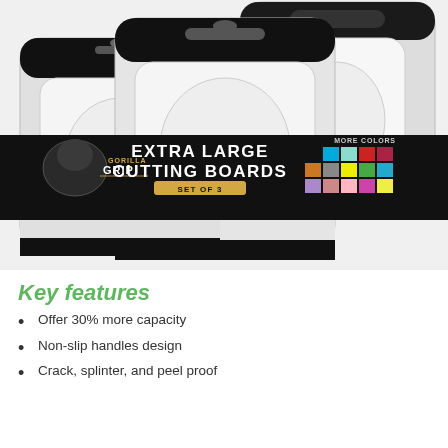[Figure (photo): Gorilla Grip Extra Large Cutting Boards Set of 3 product photo. Three white plastic cutting boards with black non-slip handles shown stacked. A black banner in the center displays the Gorilla Grip logo, text 'EXTRA LARGE CUTTING BOARDS SET OF 3', and a color swatch grid labeled 'MORE COLORS'.]
Key features
Offer 30% more capacity
Non-slip handles design
Crack, splinter, and peel proof